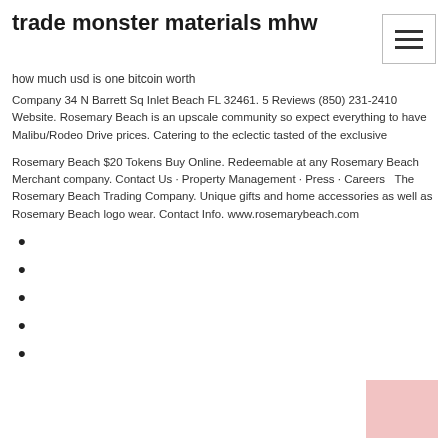trade monster materials mhw
how much usd is one bitcoin worth
Company 34 N Barrett Sq Inlet Beach FL 32461. 5 Reviews (850) 231-2410 Website. Rosemary Beach is an upscale community so expect everything to have Malibu/Rodeo Drive prices. Catering to the eclectic tasted of the exclusive
Rosemary Beach $20 Tokens Buy Online. Redeemable at any Rosemary Beach Merchant company. Contact Us · Property Management · Press · Careers  The Rosemary Beach Trading Company. Unique gifts and home accessories as well as Rosemary Beach logo wear. Contact Info. www.rosemarybeach.com